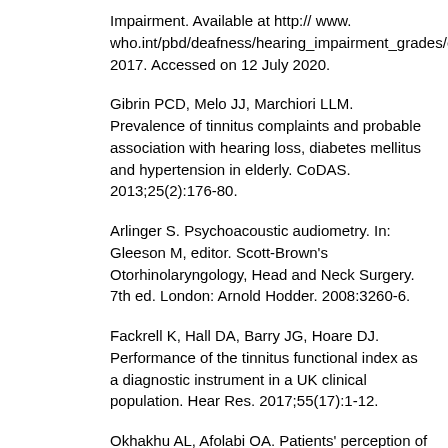Impairment. Available at http:// www. who.int/pbd/deafness/hearing_impairment_grades/en/ 2017. Accessed on 12 July 2020.
Gibrin PCD, Melo JJ, Marchiori LLM. Prevalence of tinnitus complaints and probable association with hearing loss, diabetes mellitus and hypertension in elderly. CoDAS. 2013;25(2):176-80.
Arlinger S. Psychoacoustic audiometry. In: Gleeson M, editor. Scott-Brown's Otorhinolaryngology, Head and Neck Surgery. 7th ed. London: Arnold Hodder. 2008:3260-6.
Fackrell K, Hall DA, Barry JG, Hoare DJ. Performance of the tinnitus functional index as a diagnostic instrument in a UK clinical population. Hear Res. 2017;55(17):1-12.
Okhakhu AL, Afolabi OA. Patients' perception of a symptomatic tinnitus among Nigerians: a multi-institutional study. Sierra Leone J Biomed Res. 2015;7(2):28-33.